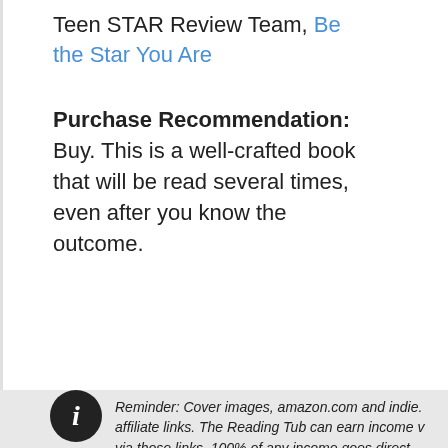Teen STAR Review Team, Be the Star You Are
Purchase Recommendation: Buy. This is a well-crafted book that will be read several times, even after you know the outcome.
Reminder: Cover images, amazon.com and indie. affiliate links. The Reading Tub can earn income v via those links. 100% of any income goes direct...